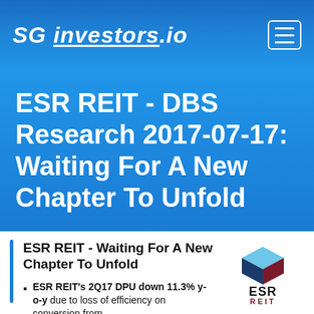SG investors.io
ESR REIT - DBS Research 2017-07-17: Waiting For A New Chapter To Unfold
ESR REIT - Waiting For A New Chapter To Unfold
[Figure (logo): ESR REIT logo with cube icon in dark blue, light blue, and dark red]
ESR REIT's 2Q17 DPU down 11.3% y-o-y due to loss of efficiency on conversion from